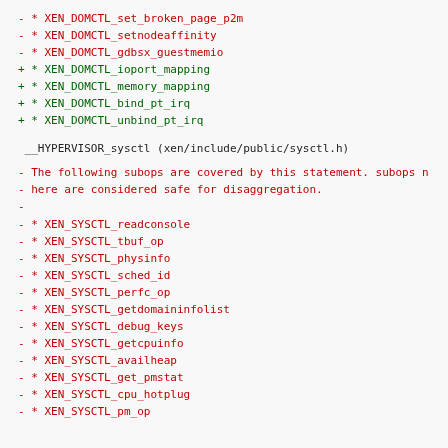- * XEN_DOMCTL_set_broken_page_p2m
- * XEN_DOMCTL_setnodeaffinity
- * XEN_DOMCTL_gdbsx_guestmemio
+ * XEN_DOMCTL_ioport_mapping
+ * XEN_DOMCTL_memory_mapping
+ * XEN_DOMCTL_bind_pt_irq
+ * XEN_DOMCTL_unbind_pt_irq
__HYPERVISOR_sysctl (xen/include/public/sysctl.h)
- The following subops are covered by this statement. subops n
- here are considered safe for disaggregation.
-
- * XEN_SYSCTL_readconsole
- * XEN_SYSCTL_tbuf_op
- * XEN_SYSCTL_physinfo
- * XEN_SYSCTL_sched_id
- * XEN_SYSCTL_perfc_op
- * XEN_SYSCTL_getdomaininfolist
- * XEN_SYSCTL_debug_keys
- * XEN_SYSCTL_getcpuinfo
- * XEN_SYSCTL_availheap
- * XEN_SYSCTL_get_pmstat
- * XEN_SYSCTL_cpu_hotplug
- * XEN_SYSCTL_pm_op